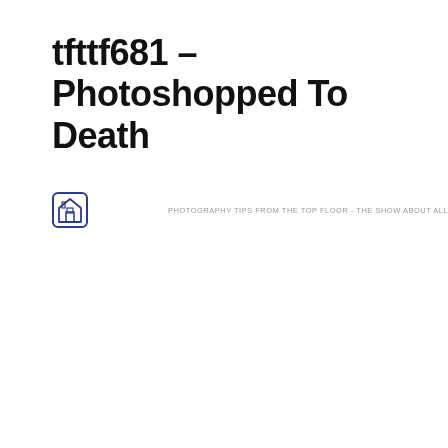tfttf681 – Photoshopped To Death
[Figure (logo): Small square logo icon with a house/barn shape and camera symbol in blue outline on white background, followed by podcast tagline text]
PHOTOGRAPHY TIPS FROM THE TOP FLOOR - THE SHOW ABOUT ALL THINGS PHOTOGRAPHY